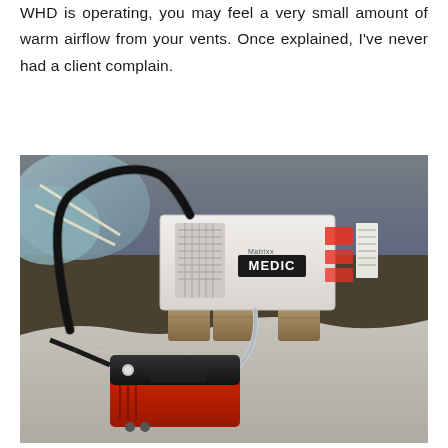WHD is operating, you may feel a very small amount of warm airflow from your vents. Once explained, I've never had a client complain.
[Figure (photo): Photograph of a crawl space or basement showing a white dehumidifier unit labeled 'MEDIC' sitting on concrete blocks, with a black power cable running to a red and black condensate pump on the floor, surrounded by white plastic sheeting vapor barrier.]